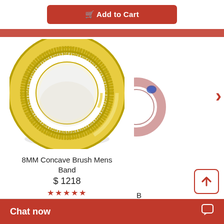[Figure (screenshot): Add to Cart button with shopping cart icon, red background with rounded corners]
[Figure (photo): 8MM Concave Brush Mens Band ring in yellow gold, showing a thick band with concave brushed center and polished edges]
[Figure (photo): Partial view of another ring product on the right side]
8MM Concave Brush Mens Band
$ 1218
★★★★★
B
Chat now